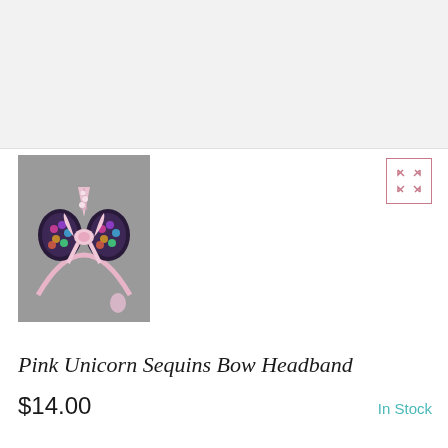[Figure (photo): Pink unicorn sequins bow headband product photo on gray background. The headband is pink with a unicorn horn, pink bow, and colorful sequined Minnie-style ears.]
Pink Unicorn Sequins Bow Headband
$14.00
In Stock